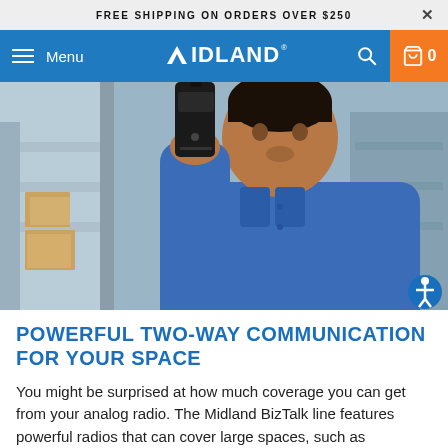FREE SHIPPING ON ORDERS OVER $250
[Figure (screenshot): Midland website navigation bar with hamburger menu, Midland logo, search icon, and orange cart icon showing 0 items]
[Figure (photo): Man in blue shirt holding a Midland BizTalk two-way radio in a warehouse setting with shelves and boxes in background]
POWERFUL TWO-WAY COMMUNICATION FOR YOUR SPACE
You might be surprised at how much coverage you can get from your analog radio. The Midland BizTalk line features powerful radios that can cover large spaces, such as warehouses, hotels,